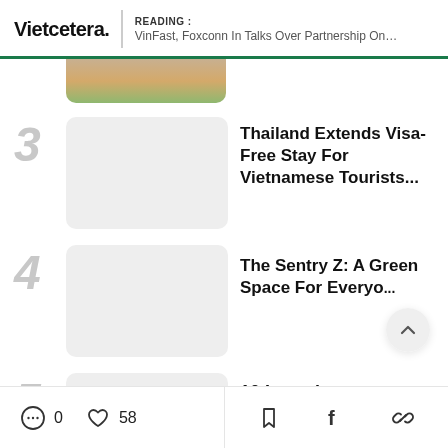Vietcetera. | READING : VinFast, Foxconn In Talks Over Partnership On Electric...
[Figure (photo): Partial view of a food photo (top article thumbnail) with Vietnamese dish visible]
3
[Figure (photo): Gray placeholder thumbnail for article 3]
Thailand Extends Visa-Free Stay For Vietnamese Tourists...
4
[Figure (photo): Gray placeholder thumbnail for article 4]
The Sentry Z: A Green Space For Everyo...
5
[Figure (photo): Gray placeholder thumbnail for article 5]
10 Luxurious Mooncake...
0  58  [bookmark] [facebook] [link]